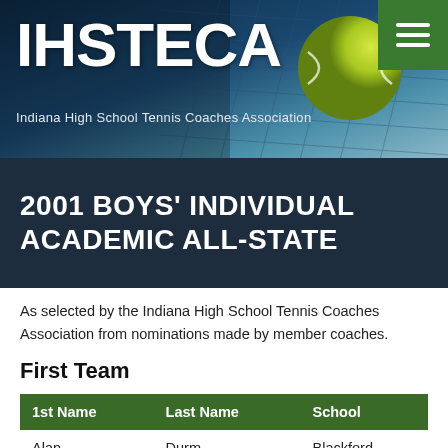IHSTECA — Indiana High School Tennis Coaches Association
2001 BOYS' INDIVIDUAL ACADEMIC ALL-STATE
As selected by the Indiana High School Tennis Coaches Association from nominations made by member coaches.
First Team
| 1st Name | Last Name | School |
| --- | --- | --- |
| Alan | Durm | Blackford |